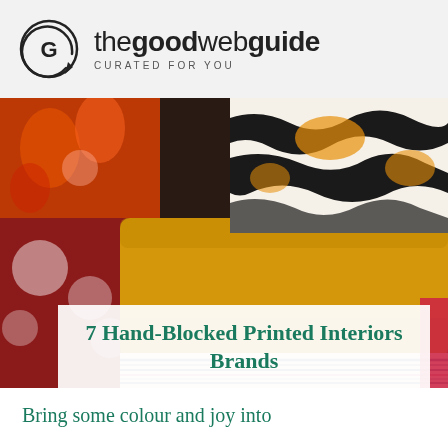thegoodwebguide — CURATED FOR YOU
[Figure (photo): Close-up photo of colourful hand-blocked printed cushions and fabrics stacked together, including orange, red, white/black patterned, and blue/pink striped textiles.]
7 Hand-Blocked Printed Interiors Brands
Bring some colour and joy into